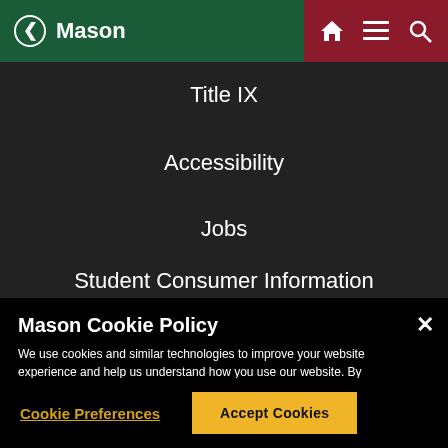Mason
Title IX
Accessibility
Jobs
Student Consumer Information
Mason Cookie Policy
We use cookies and similar technologies to improve your website experience and help us understand how you use our website. By continuing to use this website, you consent to the usage of cookies. Learn more about our Cookie Policy
Cookie Preferences
Accept Cookies